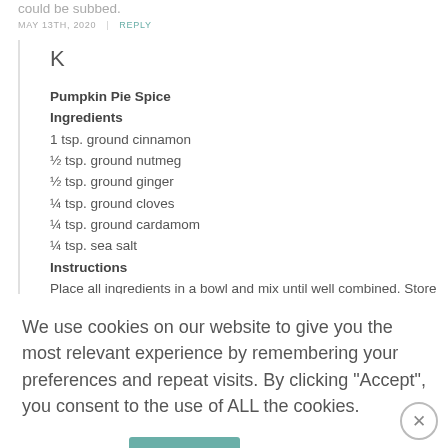could be subbed.
MAY 13TH, 2020 | REPLY
K
Pumpkin Pie Spice
Ingredients
1 tsp. ground cinnamon
½ tsp. ground nutmeg
½ tsp. ground ginger
¼ tsp. ground cloves
¼ tsp. ground cardamom
¼ tsp. sea salt
Instructions
Place all ingredients in a bowl and mix until well combined. Store
We use cookies on our website to give you the most relevant experience by remembering your preferences and repeat visits. By clicking "Accept", you consent to the use of ALL the cookies.
Cookie settings
Accept